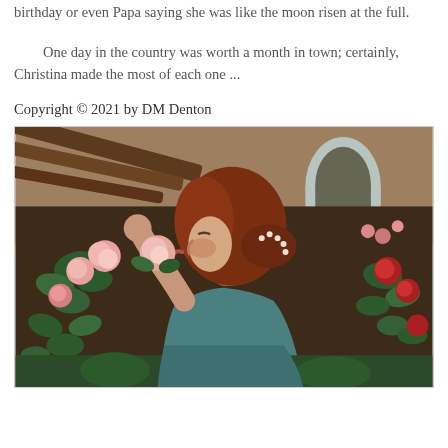birthday or even Papa saying she was like the moon risen at the full.
One day in the country was worth a month in town; certainly, Christina made the most of each one ...
Copyright © 2021 by DM Denton
[Figure (illustration): Pre-Raphaelite style painting of a young woman with auburn hair smelling pink roses. She is shown in profile, wearing a teal/blue-green dress, with pearl hair accessories. Roses and foliage surround her, with an arched window or doorway visible in the background.]